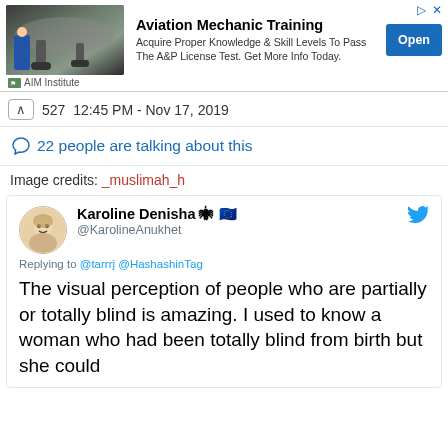[Figure (screenshot): Advertisement banner for AIM Institute Aviation Mechanic Training with airplane landing gear photo, text, and Open button]
527  12:45 PM - Nov 17, 2019
22 people are talking about this
Image credits: _muslimah_h
[Figure (screenshot): Tweet by Karoline Denisha (@KarolineAnukhet) replying to @tarrrj @HashashinTag: The visual perception of people who are partially or totally blind is amazing. I used to know a woman who had been totally blind from birth but she could]